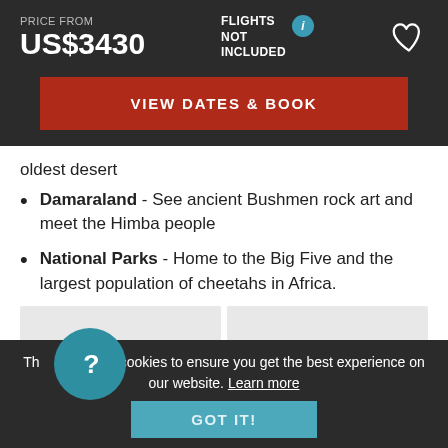PRICE FROM
US$3430
FLIGHTS NOT INCLUDED
VIEW DATES & BOOK
oldest desert
Damaraland - See ancient Bushmen rock art and meet the Himba people
National Parks - Home to the Big Five and the largest population of cheetahs in Africa.
This website uses cookies to ensure you get the best experience on our website. Learn more
GOT IT!